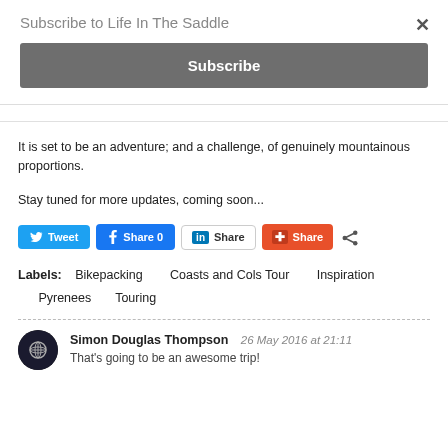Subscribe to Life In The Saddle
It is set to be an adventure; and a challenge, of genuinely mountainous proportions.
Stay tuned for more updates, coming soon...
Labels: Bikepacking  Coasts and Cols Tour  Inspiration  Pyrenees  Touring
Simon Douglas Thompson  26 May 2016 at 21:11
That's going to be an awesome trip!